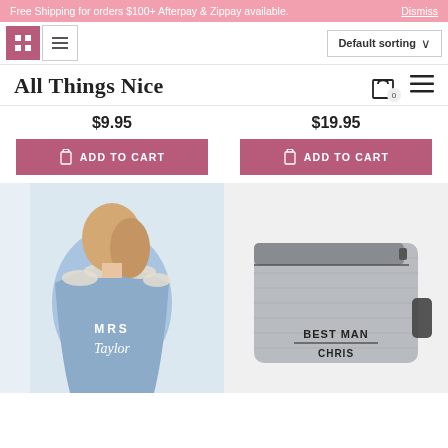Free Shipping for orders $100+ Afterpay & Zippay available. Dismiss
Default sorting
All Things Nice
$9.95
$19.95
ADD TO CART
ADD TO CART
[Figure (photo): Woman wearing a personalised denim jacket with 'MRS Taylor' written on the back, decorated with pearl embellishments on the shoulders]
[Figure (photo): Grey toiletry/dopp kit bag with 'BEST MAN CHRIS' printed on the front, featuring a black zipper]